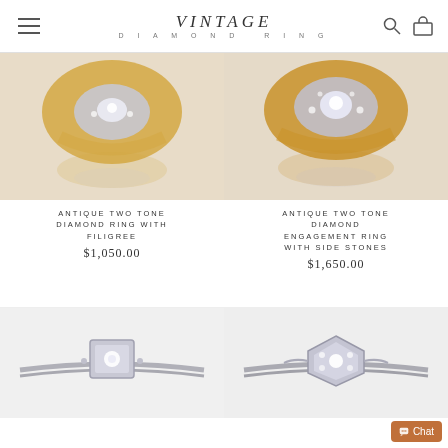VINTAGE DIAMOND RING
[Figure (photo): Close-up of antique two tone yellow gold and white gold diamond ring with filigree detail, shown from top angle with reflection]
[Figure (photo): Close-up of antique two tone yellow gold and white gold diamond engagement ring with side stones, shown from top angle with reflection]
ANTIQUE TWO TONE DIAMOND RING WITH FILIGREE
$1,050.00
ANTIQUE TWO TONE DIAMOND ENGAGEMENT RING WITH SIDE STONES
$1,650.00
[Figure (photo): Antique white gold diamond ring with square filigree setting and side accents on thin band]
[Figure (photo): Antique white gold diamond ring with hexagonal filigree cluster setting on thin band]